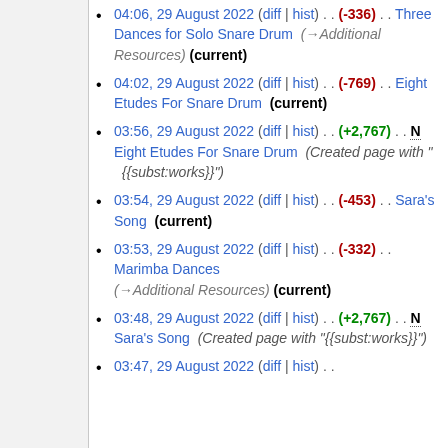04:06, 29 August 2022 (diff | hist) . . (-336) . . Three Dances for Solo Snare Drum (→Additional Resources) (current)
04:02, 29 August 2022 (diff | hist) . . (-769) . . Eight Etudes For Snare Drum (current)
03:56, 29 August 2022 (diff | hist) . . (+2,767) . . N Eight Etudes For Snare Drum (Created page with "{{subst:works}}")
03:54, 29 August 2022 (diff | hist) . . (-453) . . Sara's Song (current)
03:53, 29 August 2022 (diff | hist) . . (-332) . . Marimba Dances (→Additional Resources) (current)
03:48, 29 August 2022 (diff | hist) . . (+2,767) . . N Sara's Song (Created page with "{{subst:works}}")
03:47, 29 August 2022 (diff | hist) . .